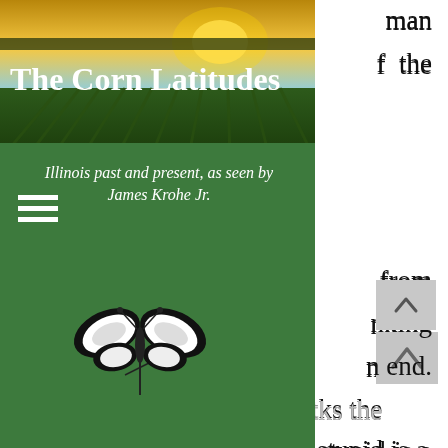[Figure (photo): Farm field with rows of crops under a golden sunset sky]
The Corn Latitudes
Illinois past and present, as seen by James Krohe Jr.
[Figure (illustration): Black and white illustration of a butterfly or moth on a plant stem]
man
of the
from
inking
n end.
ks the venal, the cowardly, or the stupid is a dishonest history, so I  included the speculators selling swamps, the labor-sweaters, the gerrymanderers, and the ballot box-stuffers.
Mainly, I wanted to share what a new generation of scholars had taught me about my home region. Beginning in 1985, what was at first known as the